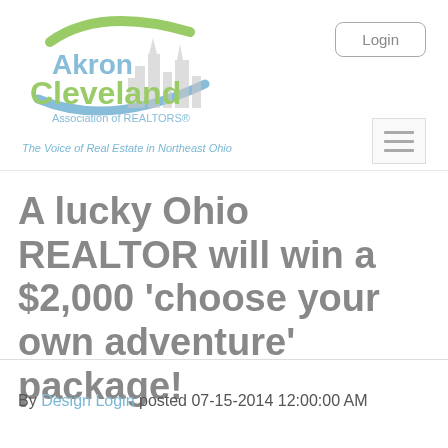[Figure (logo): Akron Cleveland Association of REALTORS logo with green and blue swoosh and city skyline silhouette]
The Voice of Real Estate in Northeast Ohio
A lucky Ohio REALTOR will win a $2,000 ‘choose your own adventure’ package!
By Design Login posted 07-15-2014 12:00:00 AM